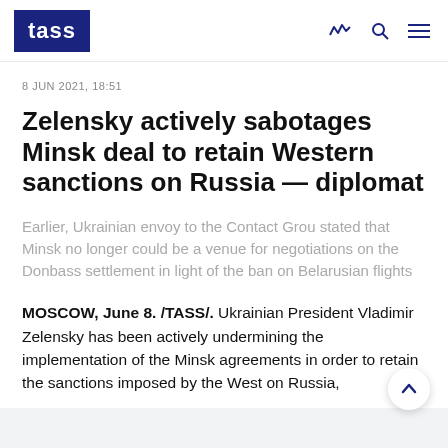TASS
8 JUN 2021, 18:51
Zelensky actively sabotages Minsk deal to retain Western sanctions on Russia — diplomat
Earlier, Ukrainian envoy to the Contact Grou stated that Minsk no longer could be a venue for negotiations on the Donbass settlement in light of the ban on Belarusian flights
MOSCOW, June 8. /TASS/. Ukrainian President Vladimir Zelensky has been actively undermining the implementation of the Minsk agreements in order to retain the sanctions imposed by the West on Russia,